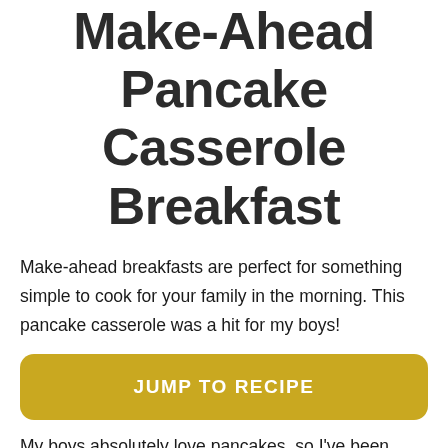Make-Ahead Pancake Casserole Breakfast
Make-ahead breakfasts are perfect for something simple to cook for your family in the morning. This pancake casserole was a hit for my boys!
JUMP TO RECIPE
My boys absolutely love pancakes, so I've been trying to find ways to use them in other breakfasts. When I came across a recipe for pancake casserole in a magazine, I knew we had to try it.
This is another breakfast that can be made the night before and then baked in the morning. As we started making this, we realized how much it would yield. We decided we would prepare it and bring